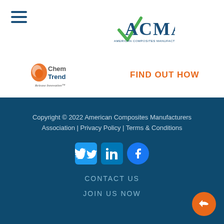[Figure (logo): Hamburger menu icon with three horizontal bars in dark blue]
[Figure (logo): ACMA - American Composites Manufacturers Association logo with green arrow and blue serif text]
[Figure (logo): Chem Trend Release Innovation logo in orange and red with tagline]
FIND OUT HOW
Copyright © 2022 American Composites Manufacturers Association | Privacy Policy | Terms & Conditions
[Figure (other): Social media icons: Twitter (bird), LinkedIn (in), Facebook (f)]
CONTACT US
JOIN US NOW
[Figure (other): Orange circular share/reply button in bottom right corner]